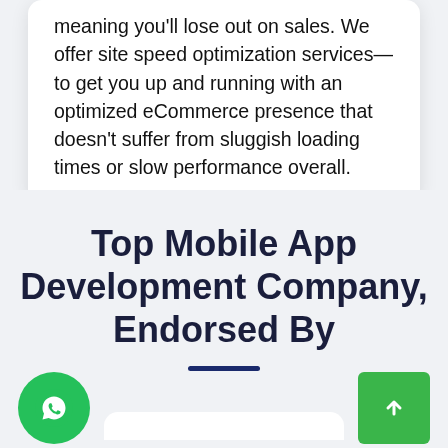meaning you'll lose out on sales. We offer site speed optimization services—to get you up and running with an optimized eCommerce presence that doesn't suffer from sluggish loading times or slow performance overall.
Top Mobile App Development Company, Endorsed By